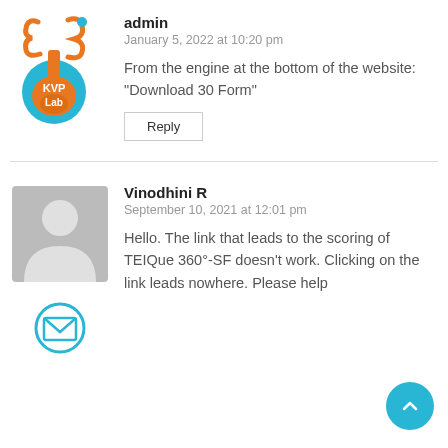[Figure (logo): KVP Lab logo with orange flask and blue circle]
admin
January 5, 2022 at 10:20 pm
From the engine at the bottom of the website: “Download 30 Form”
Reply
[Figure (illustration): Generic gray user avatar silhouette]
[Figure (illustration): Blue email envelope icon in circle]
Vinodhini R
September 10, 2021 at 12:01 pm
Hello. The link that leads to the scoring of TEIQue 360°-SF doesn’t work. Clicking on the link leads nowhere. Please help